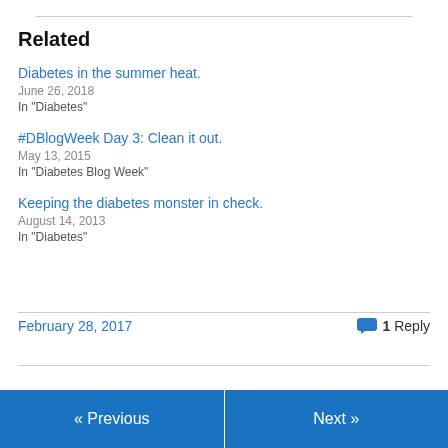Related
Diabetes in the summer heat.
June 26, 2018
In "Diabetes"
#DBlogWeek Day 3: Clean it out.
May 13, 2015
In "Diabetes Blog Week"
Keeping the diabetes monster in check.
August 14, 2013
In "Diabetes"
February 28, 2017
1 Reply
« Previous   Next »